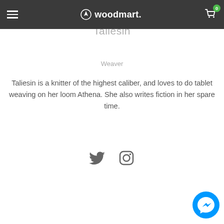woodmart.
Taliesin
Weaver
Taliesin is a knitter of the highest caliber, and loves to do tablet weaving on her loom Athena. She also writes fiction in her spare time.
[Figure (other): Social media icons: Twitter bird and Instagram camera icons in dark gray]